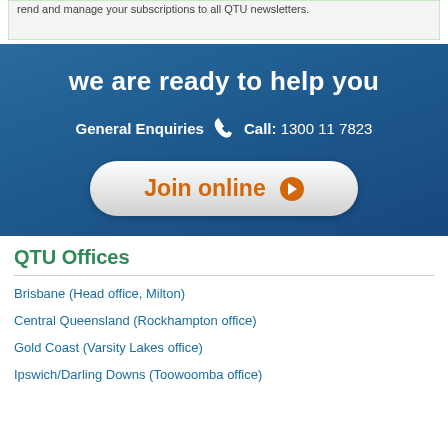rend and manage your subscriptions to all QTU newsletters.
we are ready to help you
General Enquiries  Call: 1300 11 7823
[Figure (other): Join online button with orange text and play arrow icon on white rounded rectangle]
QTU Offices
Brisbane (Head office, Milton)
Central Queensland (Rockhampton office)
Gold Coast (Varsity Lakes office)
Ipswich/Darling Downs (Toowoomba office)